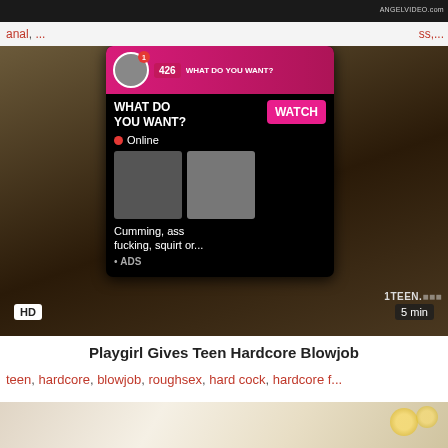[Figure (screenshot): Top partial video thumbnail strip with dark background and watermark text]
anal, ss,...
[Figure (screenshot): Main video thumbnail showing explicit content with HD badge, 5 min duration, 1TEEN.NET watermark, and an ad popup overlay showing 'WHAT DO YOU WANT? WATCH Online' with thumbnails and text 'Cumming, ass fucking, squirt or... ADS']
Playgirl Gives Teen Hardcore Blowjob
teen, hardcore, blowjob, roughsex, hard cock, hardcore f...
[Figure (screenshot): Bottom partial video thumbnail showing floral pattern background]